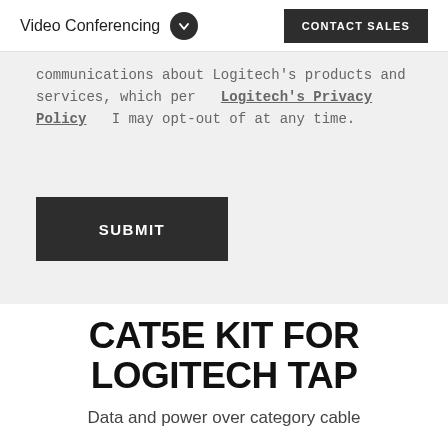Video Conferencing  CONTACT SALES
communications about Logitech's products and services, which per  Logitech's Privacy Policy  I may opt-out of at any time.
SUBMIT
CAT5E KIT FOR LOGITECH TAP
Data and power over category cable